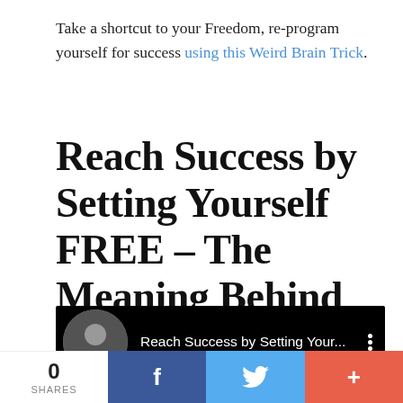Take a shortcut to your Freedom, re-program yourself for success using this Weird Brain Trick.
Reach Success by Setting Yourself FREE – The Meaning Behind This Phrase
[Figure (screenshot): Video player bar with dark background showing a circular avatar of a man, title 'Reach Success by Setting Your...' and a three-dot menu icon]
[Figure (infographic): Social share bar: share count '0 SHARES', Facebook button, Twitter button, plus/add button]